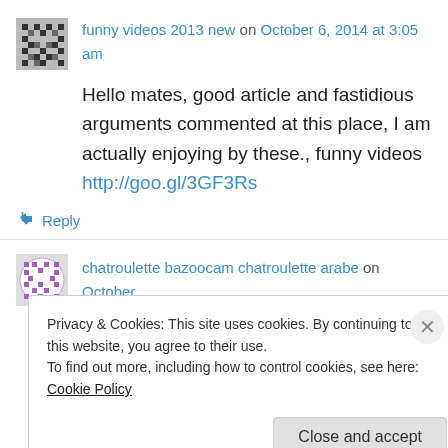funny videos 2013 new on October 6, 2014 at 3:05 am
Hello mates, good article and fastidious arguments commented at this place, I am actually enjoying by these., funny videos http://goo.gl/3GF3Rs
↳ Reply
chatroulette bazoocam chatroulette arabe on October
Privacy & Cookies: This site uses cookies. By continuing to use this website, you agree to their use. To find out more, including how to control cookies, see here: Cookie Policy
Close and accept